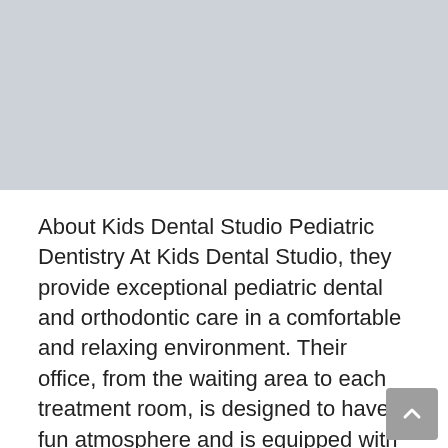[Figure (photo): Gray placeholder image area at the top of the page]
About Kids Dental Studio Pediatric Dentistry At Kids Dental Studio, they provide exceptional pediatric dental and orthodontic care in a comfortable and relaxing environment. Their office, from the waiting area to each treatment room, is designed to have a fun atmosphere and is equipped with high-definition televisions to help your child feel at home. Get … Read more